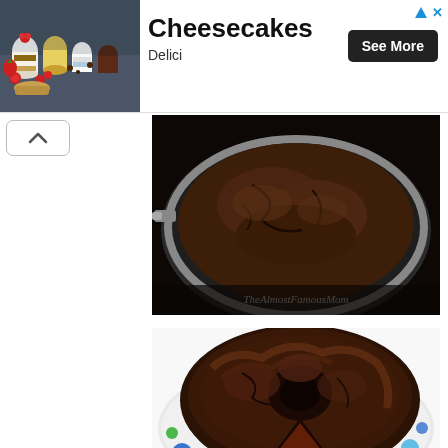[Figure (screenshot): Advertisement banner for Cheesecakes by Delici, showing desserts in small glass jars on a dark surface with berries. Contains 'See More' button and ad icon.]
[Figure (photo): Overhead photo of a chocolate cake in a round springform pan on a dark background, with watermark 'TheAlmostFamousMom']
[Figure (photo): Photo of a dark chocolate bundt/round cake with a slice removed, on a colorful plate with blue, green, and yellow dot pattern, showing moist interior]